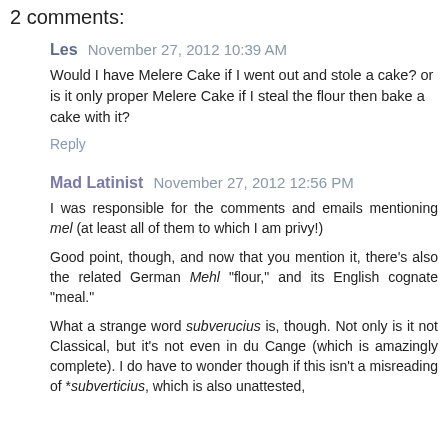2 comments:
Les  November 27, 2012 10:39 AM
Would I have Melere Cake if I went out and stole a cake? or is it only proper Melere Cake if I steal the flour then bake a cake with it?
Reply
Mad Latinist  November 27, 2012 12:56 PM
I was responsible for the comments and emails mentioning mel (at least all of them to which I am privy!)
Good point, though, and now that you mention it, there's also the related German Mehl "flour," and its English cognate "meal."
What a strange word subverucius is, though. Not only is it not Classical, but it's not even in du Cange (which is amazingly complete). I do have to wonder though if this isn't a misreading of *subverticius, which is also unattested,